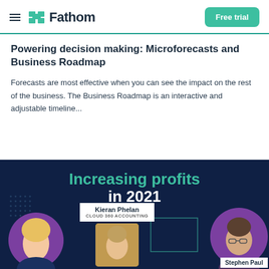Fathom — Free trial
Powering decision making: Microforecasts and Business Roadmap
Forecasts are most effective when you can see the impact on the rest of the business. The Business Roadmap is an interactive and adjustable timeline...
[Figure (photo): Dark navy promotional banner titled 'Increasing profits in 2021' with three people: a blonde woman in a purple circle on the left, a man labeled 'Kieran Phelan, CLOUD 360 ACCOUNTING' in the center, and a man labeled 'Stephen Paul' in a purple circle on the right.]